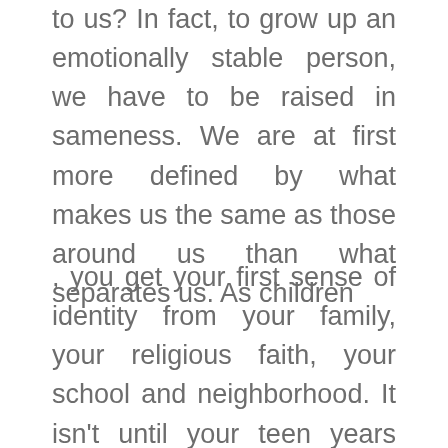to us? In fact, to grow up an emotionally stable person, we have to be raised in sameness. We are at first more defined by what makes us the same as those around us than what separates us. As children
, you get your first sense of identity from your family, your religious faith, your school and neighborhood. It isn't until your teen years that you have enough confidence in your own identity that you begin to rebel against being the same as your family, but even then, you rebel against family in an effort to be more the